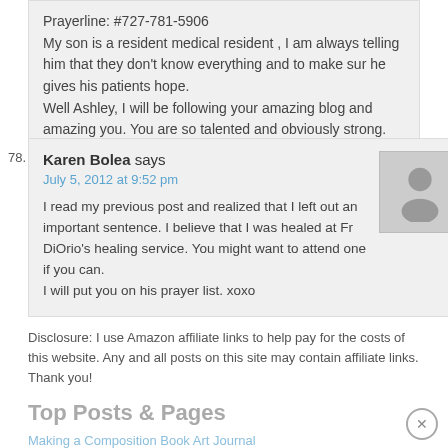Prayerline: #727-781-5906
My son is a resident medical resident , I am always telling him that they don't know everything and to make sur he gives his patients hope.
Well Ashley, I will be following your amazing blog and amazing you. You are so talented and obviously strong. You will get through this. God Bless You
78. Karen Bolea says
July 5, 2012 at 9:52 pm
I read my previous post and realized that I left out an important sentence. I believe that I was healed at Fr DiOrio's healing service. You might want to attend one if you can.
I will put you on his prayer list. xoxo
Disclosure: I use Amazon affiliate links to help pay for the costs of this website. Any and all posts on this site may contain affiliate links. Thank you!
Top Posts & Pages
Making a Composition Book Art Journal